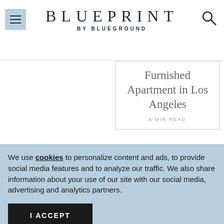BLUEPRINT BY BLUEGROUND
Furnished Apartment in Los Angeles
6 MIN READ
We use cookies to personalize content and ads, to provide social media features and to analyze our traffic. We also share information about your use of our site with our social media, advertising and analytics partners.
I ACCEPT